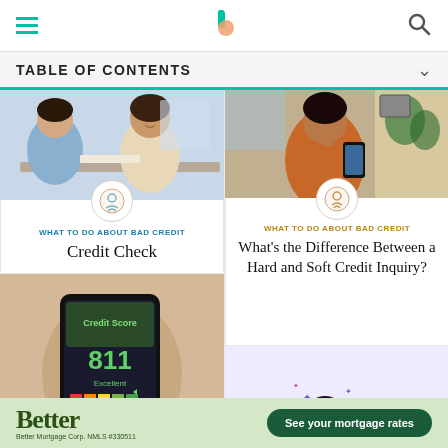Better - navigation header with hamburger menu, logo, and search icon
TABLE OF CONTENTS
[Figure (photo): Two women at a desk in a meeting, smiling, reviewing documents]
WHAT TO DO ABOUT BAD CREDIT
Credit Check
[Figure (photo): Woman looking at phone showing credit score 811 Excellent]
[Figure (photo): Woman sitting at desk looking at phone thoughtfully]
WHAT TO DO ABOUT BAD CREDIT
What's the Difference Between a Hard and Soft Credit Inquiry?
[Figure (illustration): Illustration of a woman with financial decision signs and a car, with text 'Price shop cars to snag special rates']
Better — Better Mortgage Corp. NMLS #330511 — See your mortgage rates